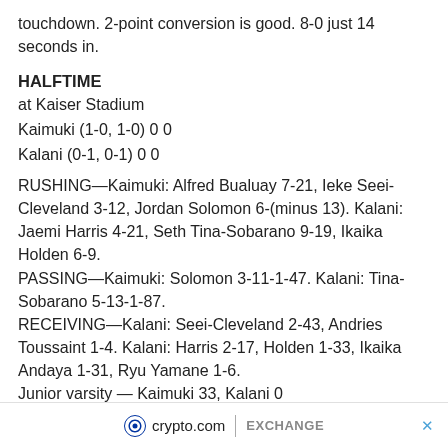touchdown. 2-point conversion is good. 8-0 just 14 seconds in.
HALFTIME
at Kaiser Stadium
Kaimuki (1-0, 1-0) 0 0
Kalani (0-1, 0-1) 0 0
RUSHING—Kaimuki: Alfred Bualuay 7-21, Ieke Seei-Cleveland 3-12, Jordan Solomon 6-(minus 13). Kalani: Jaemi Harris 4-21, Seth Tina-Sobarano 9-19, Ikaika Holden 6-9.
PASSING—Kaimuki: Solomon 3-11-1-47. Kalani: Tina-Sobarano 5-13-1-87.
RECEIVING—Kalani: Seei-Cleveland 2-43, Andries Toussaint 1-4. Kalani: Harris 2-17, Holden 1-33, Ikaika Andaya 1-31, Ryu Yamane 1-6.
Junior varsity — Kaimuki 33, Kalani 0
[Figure (logo): crypto.com EXCHANGE advertisement banner with close button]